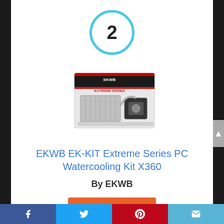[Figure (other): Circular badge with number 2 in blue ring]
[Figure (photo): EKWB EK-KIT Extreme Series PC Watercooling Kit X360 product box image]
EKWB EK-KIT Extreme Series PC Watercooling Kit X360
By EKWB
View Product